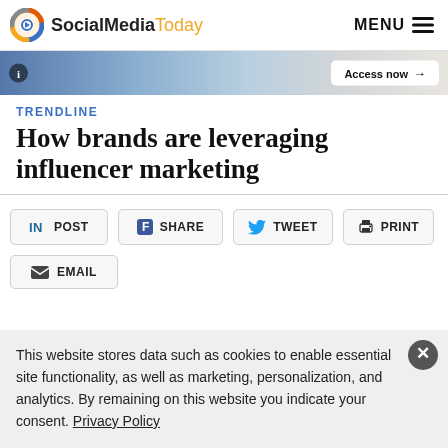SocialMediaToday  MENU
[Figure (photo): Banner image with gradient blue background, info icon on left, 'Access now' button on right]
TRENDLINE
How brands are leveraging influencer marketing
POST
SHARE
TWEET
PRINT
EMAIL
This website stores data such as cookies to enable essential site functionality, as well as marketing, personalization, and analytics. By remaining on this website you indicate your consent. Privacy Policy